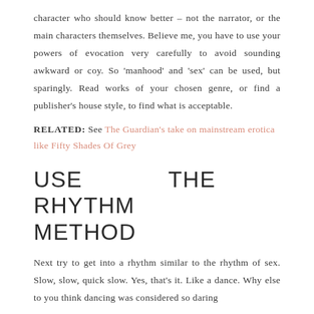character who should know better – not the narrator, or the main characters themselves. Believe me, you have to use your powers of evocation very carefully to avoid sounding awkward or coy. So 'manhood' and 'sex' can be used, but sparingly. Read works of your chosen genre, or find a publisher's house style, to find what is acceptable.
RELATED: See The Guardian's take on mainstream erotica like Fifty Shades Of Grey
USE THE RHYTHM METHOD
Next try to get into a rhythm similar to the rhythm of sex. Slow, slow, quick slow. Yes, that's it. Like a dance. Why else to you think dancing was considered so daring